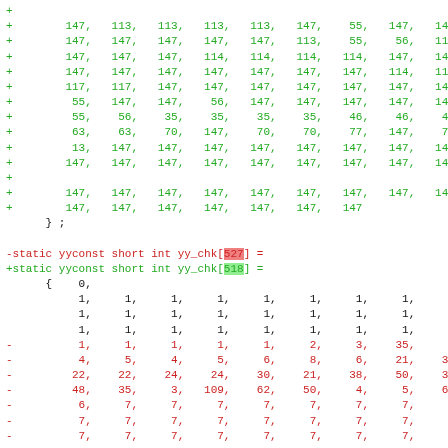Code diff showing changes to yy_chk array size from 527 to 518, with plus and minus lines of integer array data
-static yyconst short int yy_chk[527] =
+static yyconst short int yy_chk[518] =